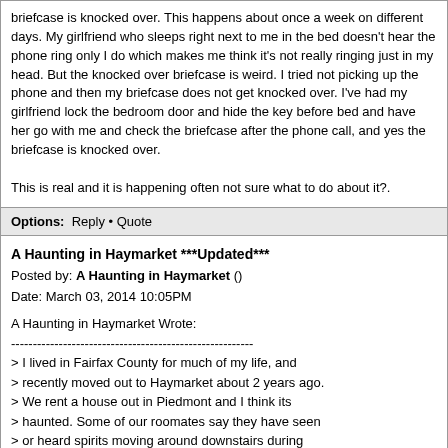briefcase is knocked over. This happens about once a week on different days. My girlfriend who sleeps right next to me in the bed doesn't hear the phone ring only I do which makes me think it's not really ringing just in my head. But the knocked over briefcase is weird. I tried not picking up the phone and then my briefcase does not get knocked over. I've had my girlfriend lock the bedroom door and hide the key before bed and have her go with me and check the briefcase after the phone call, and yes the briefcase is knocked over.
This is real and it is happening often not sure what to do about it?.
Options:   Reply • Quote
A Haunting in Haymarket ***Updated***
Posted by: A Haunting in Haymarket ()
Date: March 03, 2014 10:05PM
A Haunting in Haymarket Wrote:
--------------------------------------------------------
> I lived in Fairfax County for much of my life, and
> recently moved out to Haymarket about 2 years ago.
> We rent a house out in Piedmont and I think its
> haunted. Some of our roomates say they have seen
> or heard spirits moving around downstairs during
> the day when no else in home. The owner has a
> satellite clock that automatically corrects it's
> time when syncing up to the satellite in orbit.
> This one is very odd, because once and a while, it
> will be waaaaay off by about 8 to 10 hours. It's
> pretty creepy to see the arms of the clock moving
> quickly to correct itself. I myself have dreams